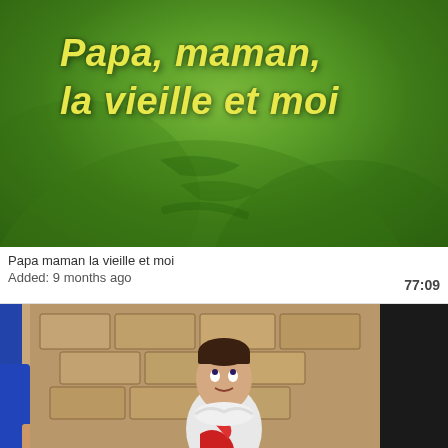[Figure (screenshot): Video thumbnail showing green background with yellow italic bold text reading 'Papa, maman, la vieille et moi']
Papa maman la vieille et moi
Added: 9 months ago
77:09
[Figure (screenshot): Video thumbnail showing a young boy in white costume with red accessory looking upward, standing in front of a stone wall, with a blue sleeve on the left and dark figure on the right]